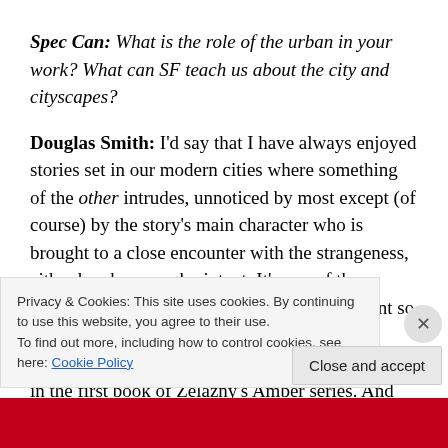Spec Can: What is the role of the urban in your work? What can SF teach us about the city and cityscapes?
Douglas Smith: I'd say that I have always enjoyed stories set in our modern cities where something of the other intrudes, unnoticed by most except (of course) by the story's main character who is brought to a close encounter with the strangeness, either by chance or by intent. It's one of the reasons that I enjoy the work of Charles de Lint so much. Other works that come to mind are the openings in the first book of Zelazny's Amber series. And...
Privacy & Cookies: This site uses cookies. By continuing to use this website, you agree to their use.
To find out more, including how to control cookies, see here: Cookie Policy
Close and accept